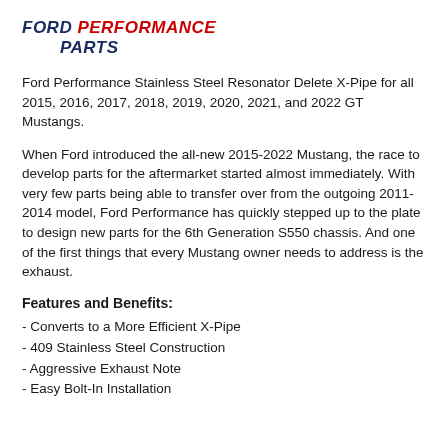FORD PERFORMANCE PARTS
Ford Performance Stainless Steel Resonator Delete X-Pipe for all 2015, 2016, 2017, 2018, 2019, 2020, 2021, and 2022 GT Mustangs.
When Ford introduced the all-new 2015-2022 Mustang, the race to develop parts for the aftermarket started almost immediately. With very few parts being able to transfer over from the outgoing 2011-2014 model, Ford Performance has quickly stepped up to the plate to design new parts for the 6th Generation S550 chassis. And one of the first things that every Mustang owner needs to address is the exhaust.
Features and Benefits:
- Converts to a More Efficient X-Pipe
- 409 Stainless Steel Construction
- Aggressive Exhaust Note
- Easy Bolt-In Installation